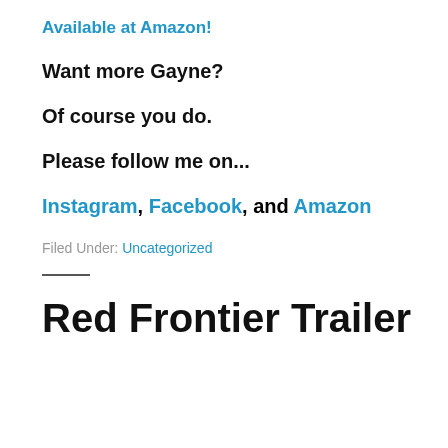Available at Amazon!
Want more Gayne?
Of course you do.
Please follow me on...
Instagram, Facebook, and Amazon
Filed Under: Uncategorized
Red Frontier Trailer